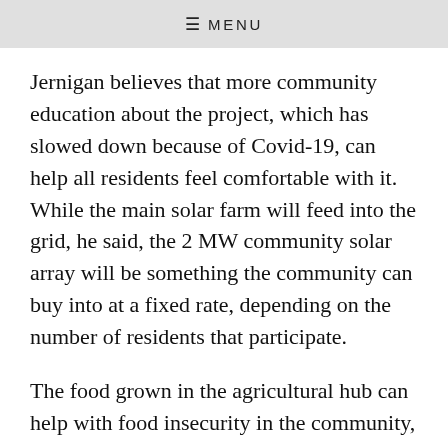≡ MENU
Jernigan believes that more community education about the project, which has slowed down because of Covid-19, can help all residents feel comfortable with it. While the main solar farm will feed into the grid, he said, the 2 MW community solar array will be something the community can buy into at a fixed rate, depending on the number of residents that participate.
The food grown in the agricultural hub can help with food insecurity in the community, especially among children and seniors, Hines said. Included in the project plan is also a